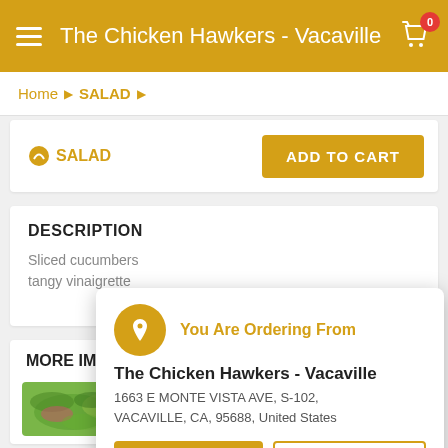The Chicken Hawkers - Vacaville
Home ▶ SALAD ▶
SALAD · ADD TO CART
DESCRIPTION
Sliced cucumbers tangy vinaigrette
MORE IMAGES
[Figure (photo): Salad food photo with green cucumbers and red onions]
You Are Ordering From
The Chicken Hawkers - Vacaville
1663 E MONTE VISTA AVE, S-102, VACAVILLE, CA, 95688, United States
CHANGE · MINIMIZE